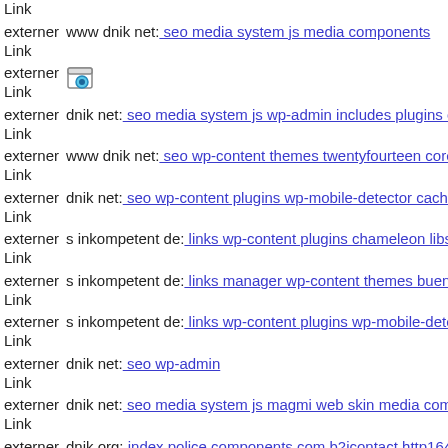externer Link  www dnik net: seo media system js media components
externer Link  [icon]
externer Link  dnik net: seo media system js wp-admin includes plugins co
externer Link  www dnik net: seo wp-content themes twentyfourteen core
externer Link  dnik net: seo wp-content plugins wp-mobile-detector cache
externer Link  s inkompetent de: links wp-content plugins chameleon libs
externer Link  s inkompetent de: links manager wp-content themes bueno
externer Link  s inkompetent de: links wp-content plugins wp-mobile-dete
externer Link  dnik net: seo wp-admin
externer Link  dnik net: seo media system js magmi web skin media comp
externer Link  dnik org: index police components com b2jcontact http1644